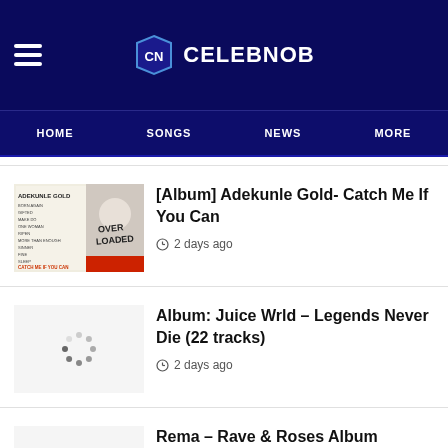CELEBNOB
HOME  SONGS  NEWS  MORE
[Album] Adekunle Gold- Catch Me If You Can
2 days ago
Album: Juice Wrld – Legends Never Die (22 tracks)
2 days ago
Rema – Rave & Roses Album Tracklist | ZIP | Mp3
3 days ago